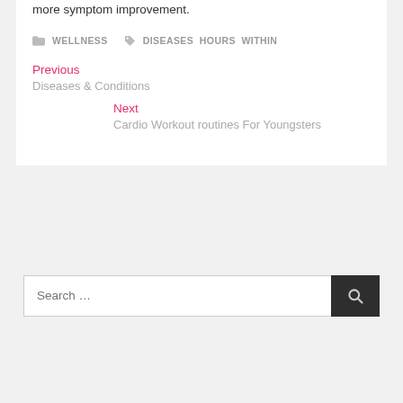more symptom improvement.
WELLNESS   DISEASES  HOURS  WITHIN
Previous
Diseases & Conditions
Next
Cardio Workout routines For Youngsters
Search …